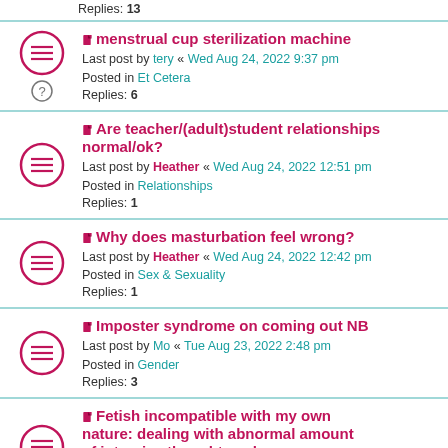Replies: 13
menstrual cup sterilization machine
Last post by tery « Wed Aug 24, 2022 9:37 pm
Posted in Et Cetera
Replies: 6
Are teacher/(adult)student relationships normal/ok?
Last post by Heather « Wed Aug 24, 2022 12:51 pm
Posted in Relationships
Replies: 1
Why does masturbation feel wrong?
Last post by Heather « Wed Aug 24, 2022 12:42 pm
Posted in Sex & Sexuality
Replies: 1
Imposter syndrome on coming out NB
Last post by Mo « Tue Aug 23, 2022 2:48 pm
Posted in Gender
Replies: 3
Fetish incompatible with my own nature: dealing with abnormal amount of intrusive thoughts a day
Last post by Mo « Tue Aug 23, 2022 2:44 pm
Posted in Sex & Sexuality
Replies: 5